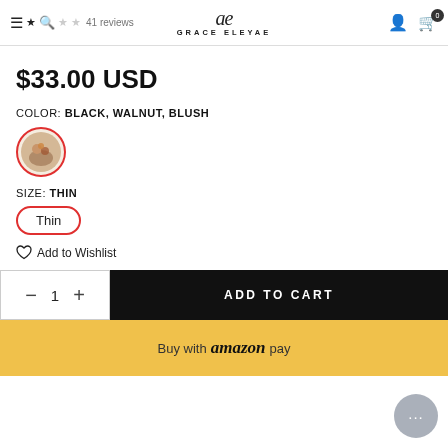Grace Eleyae — 41 reviews, navigation, cart 0
$33.00 USD
COLOR: BLACK, WALNUT, BLUSH
[Figure (photo): Color swatch circle with product thumbnail image, outlined in red, representing Black, Walnut, Blush color option]
SIZE: THIN
[Figure (other): Size selector button labeled Thin with red circular border]
Add to Wishlist
— 1 + ADD TO CART
Buy with amazon pay